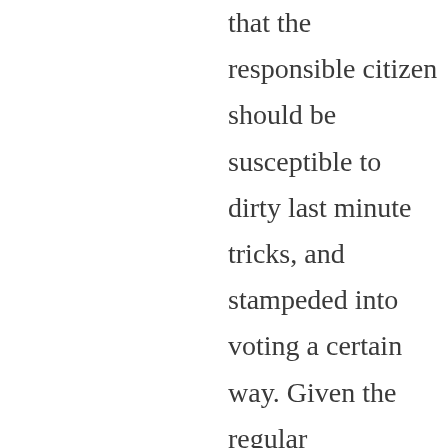that the responsible citizen should be susceptible to dirty last minute tricks, and stampeded into voting a certain way. Given the regular ‘October Surprises’ presidential elections now come with (and all trumped up BS by